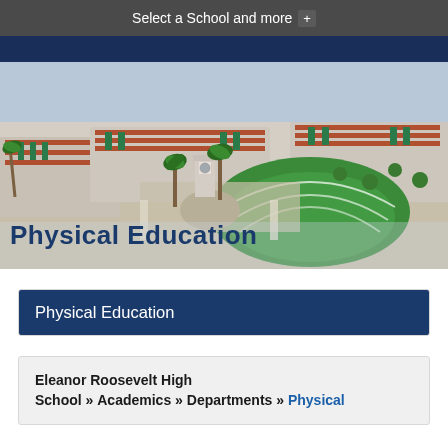Select a School and more +
[Figure (photo): Aerial view of Eleanor Roosevelt High School campus with red-tiled roofs, palm trees, green amphitheater lawn, and courtyard areas]
Physical Education
Physical Education
Eleanor Roosevelt High School » Academics » Departments » Physical